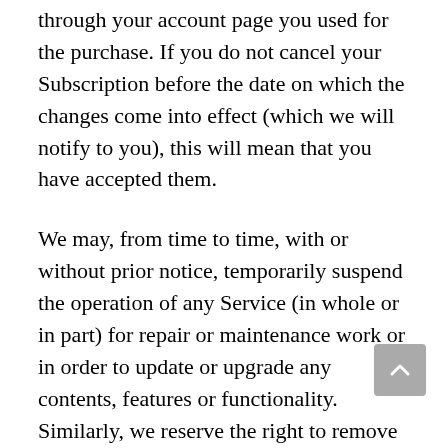through your account page you used for the purchase. If you do not cancel your Subscription before the date on which the changes come into effect (which we will notify to you), this will mean that you have accepted them.
We may, from time to time, with or without prior notice, temporarily suspend the operation of any Service (in whole or in part) for repair or maintenance work or in order to update or upgrade any contents, features or functionality. Similarly, we reserve the right to remove any Content (as defined below) from the Services at any time, for any reason (including, but not limited to, if someone alleges you contributed that Content in violation of these Terms), in our sole discretion.